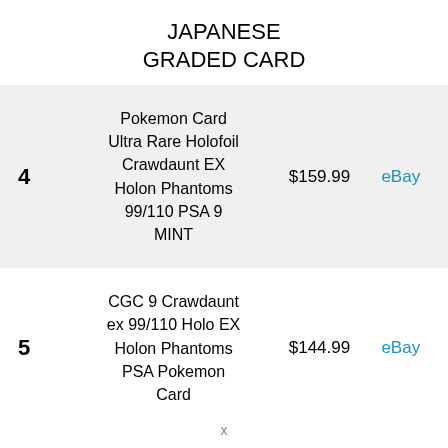JAPANESE GRADED CARD
| # | Description | Price | Source |
| --- | --- | --- | --- |
| 4 | Pokemon Card Ultra Rare Holofoil Crawdaunt EX Holon Phantoms 99/110 PSA 9 MINT | $159.99 | eBay |
| 5 | CGC 9 Crawdaunt ex 99/110 Holo EX Holon Phantoms PSA Pokemon Card | $144.99 | eBay |